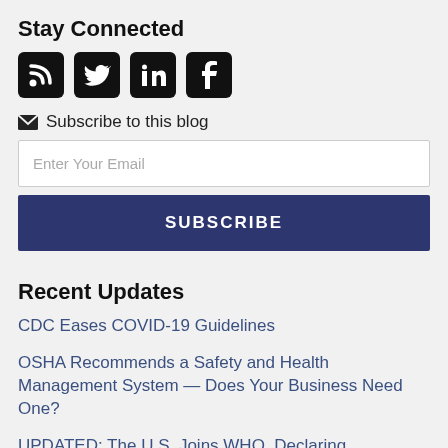Stay Connected
[Figure (illustration): Social media icons: RSS feed, Twitter, LinkedIn, Facebook]
✉ Subscribe to this blog
Enter Your Email
SUBSCRIBE
Recent Updates
CDC Eases COVID-19 Guidelines
OSHA Recommends a Safety and Health Management System — Does Your Business Need One?
UPDATED: The U.S. Joins WHO, Declaring Monkeypox a